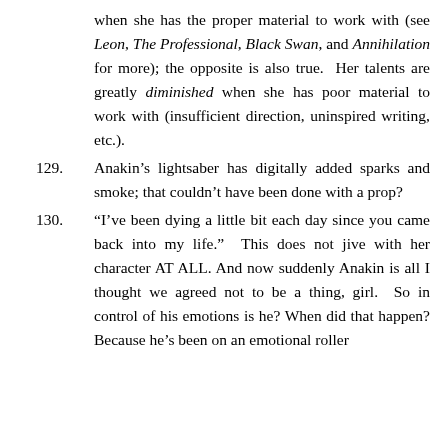when she has the proper material to work with (see Leon, The Professional, Black Swan, and Annihilation for more); the opposite is also true. Her talents are greatly diminished when she has poor material to work with (insufficient direction, uninspired writing, etc.).
129. Anakin's lightsaber has digitally added sparks and smoke; that couldn't have been done with a prop?
130. "I've been dying a little bit each day since you came back into my life." This does not jive with her character AT ALL. And now suddenly Anakin is all I thought we agreed not to be a thing, girl. So in control of his emotions is he? When did that happen? Because he's been on an emotional roller